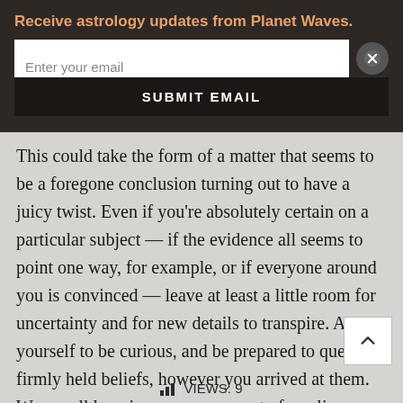Receive astrology updates from Planet Waves.
This could take the form of a matter that seems to be a foregone conclusion turning out to have a juicy twist. Even if you're absolutely certain on a particular subject — if the evidence all seems to point one way, for example, or if everyone around you is convinced — leave at least a little room for uncertainty and for new details to transpire. Allow yourself to be curious, and be prepared to question firmly held beliefs, however you arrived at them. We are all learning, every moment of our lives. — By Amy Elliott
VIEWS: 9